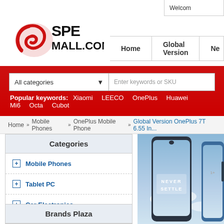Welcome
[Figure (logo): SPE MALL.COM logo with red swirl graphic on left and bold text SPE MALL.COM]
Home | Global Version | Ne...
All categories dropdown | Enter keywords or SKU search box
Popular keywords: Xiaomi  LEECO  OnePlus  Huawei  Mi6  Octa  Cubot
Home » Mobile Phones » OnePlus Mobile Phone » Global Version OnePlus 7T 6.55 In...
Categories
+ Mobile Phones
+ Tablet PC
+ Car Electronics
+ Repair Parts
+ Outdoor Sports
+ Smart Wearable Device
Brands Plaza
[Figure (photo): OnePlus 7T smartphone showing front screen with dewdrop notch and blue OnePlus phone beside it, with NEVER SETTLE text displayed on screen]